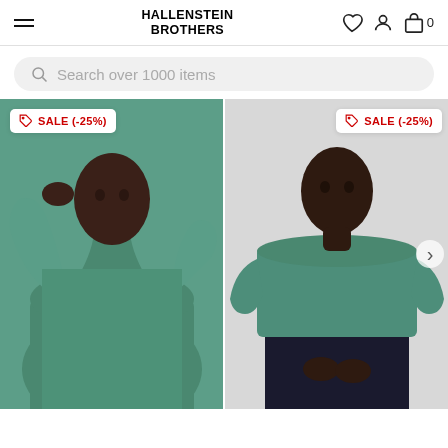HALLENSTEIN BROTHERS
Search over 1000 items
[Figure (photo): Man wearing green hoodie with sale badge SALE (-25%)]
[Figure (photo): Man wearing green crew-neck sweatshirt with sale badge SALE (-25%)]